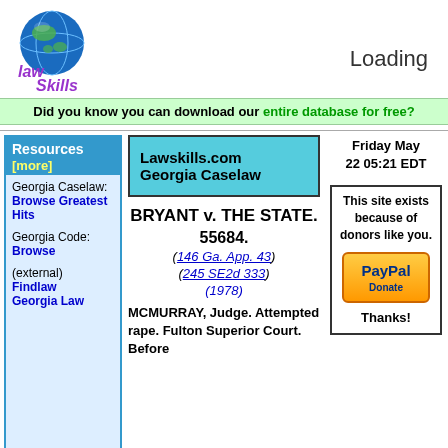[Figure (logo): LawSkills.com logo with globe graphic and stylized text 'law skills']
Loading
Did you know you can download our entire database for free?
Resources [more]
Georgia Caselaw: Browse Greatest Hits
Georgia Code: Browse
(external) Findlaw Georgia Law
Lawskills.com Georgia Caselaw
BRYANT v. THE STATE.
55684.
(146 Ga. App. 43)
(245 SE2d 333)
(1978)
MCMURRAY, Judge. Attempted rape. Fulton Superior Court. Before
Friday May 22 05:21 EDT
This site exists because of donors like you.
Thanks!